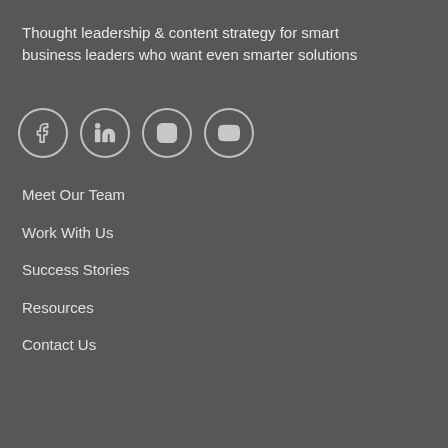Thought leadership & content strategy for smart business leaders who want even smarter solutions
[Figure (other): Four social media icons in circles: Facebook, LinkedIn, Instagram, YouTube]
Meet Our Team
Work With Us
Success Stories
Resources
Contact Us